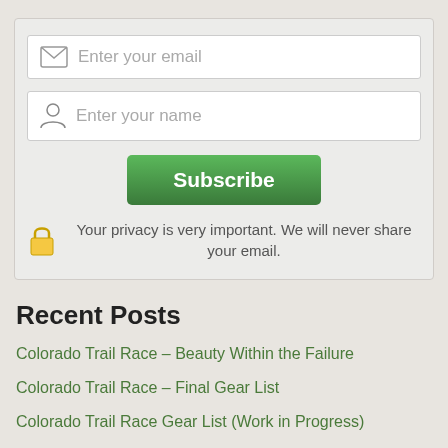[Figure (screenshot): Email input field with envelope icon and placeholder text 'Enter your email']
[Figure (screenshot): Name input field with person icon and placeholder text 'Enter your name']
[Figure (screenshot): Green Subscribe button]
Your privacy is very important. We will never share your email.
Recent Posts
Colorado Trail Race – Beauty Within the Failure
Colorado Trail Race – Final Gear List
Colorado Trail Race Gear List (Work in Progress)
Training for the Colorado Trail Race
Have You Ever Been Chased By A Turkey?